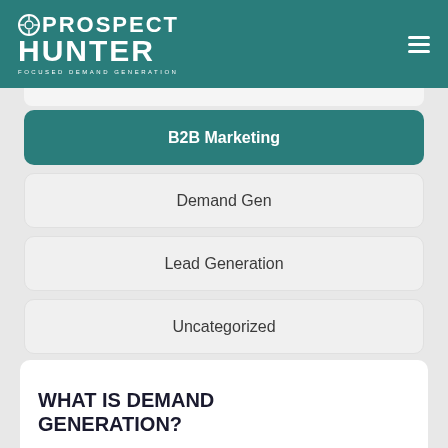[Figure (logo): Prospect Hunter logo with crosshair icon, tagline FOCUSED DEMAND GENERATION on teal header background]
B2B Marketing
Demand Gen
Lead Generation
Uncategorized
Newsletter
Notesfromtheceo
WHAT IS DEMAND GENERATION?